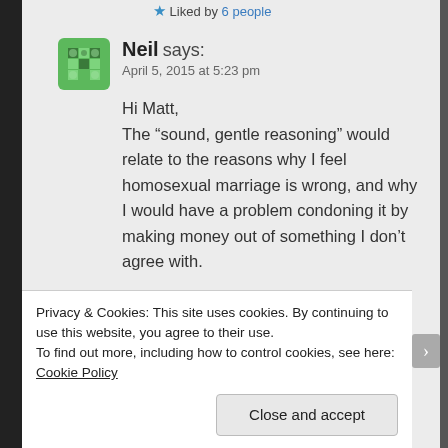★ Liked by 6 people
Neil says: April 5, 2015 at 5:23 pm
Hi Matt,
The “sound, gentle reasoning” would relate to the reasons why I feel homosexual marriage is wrong, and why I would have a problem condoning it by making money out of something I don’t agree with.
Like
Privacy & Cookies: This site uses cookies. By continuing to use this website, you agree to their use.
To find out more, including how to control cookies, see here: Cookie Policy
Close and accept